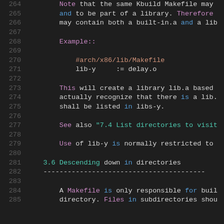264     Note that the same Kbuild Makefile may
265     and to be part of a library. Therefore
266     may contain both a built-in.a and a lib
267
268     Example::
269
270         #arch/x86/lib/Makefile
271         lib-y    := delay.o
272
273     This will create a library lib.a based
274     actually recognize that there is a lib.
275     shall be listed in libs-y.
276
277     See also "7.4 List directories to visit
278
279     Use of lib-y is normally restricted to
280
281 3.6 Descending down in directories
282 ----------------------------------------
283
284     A Makefile is only responsible for buil
285     directory. Files in subdirectories shou